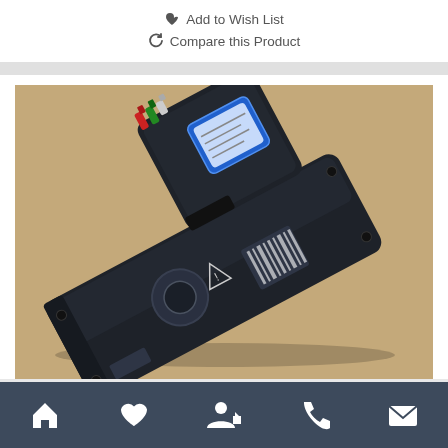Add to Wish List
Compare this Product
[Figure (photo): Dell laptop battery (black, elongated form factor) lying at an angle on a tan/beige surface. The battery has a blue label sticker on one side and shows various certification markings. Connector wires (red, green, white) are visible at the top.]
Navigation bar with home, heart/wishlist, account, phone, and email icons